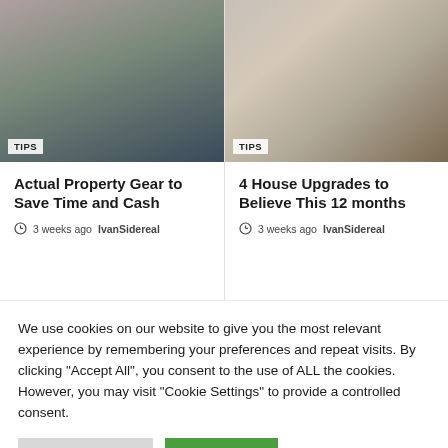[Figure (photo): People outdoors looking at a tablet/phone, street scene]
[Figure (photo): Person holding a clipboard with a pen, signing or writing]
Actual Property Gear to Save Time and Cash
3 weeks ago IvanSidereal
4 House Upgrades to Believe This 12 months
3 weeks ago IvanSidereal
We use cookies on our website to give you the most relevant experience by remembering your preferences and repeat visits. By clicking "Accept All", you consent to the use of ALL the cookies. However, you may visit "Cookie Settings" to provide a controlled consent.